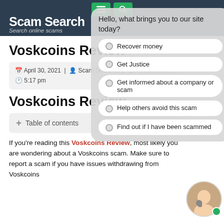Scam Search — Search online scams
[Figure (screenshot): Chat popup overlay with options: 'Hello, what brings you to our site today?', 'Recover money', 'Get Justice', 'Get informed about a company or scam', 'Help others avoid this scam', 'Find out if I have been scammed']
Voskcoins Review
April 30, 2021 | Scam Searcher | 0 Comment | 5:17 pm
Voskcoins Review
+ Table of contents
If you're reading this Voskcoins Review, most likely you are wondering about a Voskcoins scam. Make sure to report a scam if you have issues withdrawing from Voskcoins